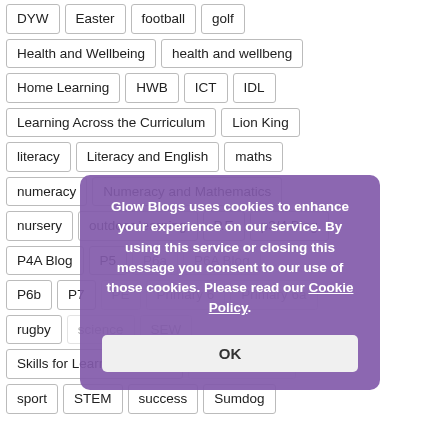DYW
Easter
football
golf
Health and Wellbeing
health and wellbeng
Home Learning
HWB
ICT
IDL
Learning Across the Curriculum
Lion King
literacy
Literacy and English
maths
numeracy
Numeracy and Mathematics
nursery
outdoor learning
P.E
p3/4 Blog
P4A Blog
P5
P6a
P6b
P7
PE
Primary 6
Primary 6a
rugby
science
SEW
Skills for Learning Life and
Social Studies
sport
STEM
success
Sumdog
Glow Blogs uses cookies to enhance your experience on our service. By using this service or closing this message you consent to our use of those cookies. Please read our Cookie Policy.